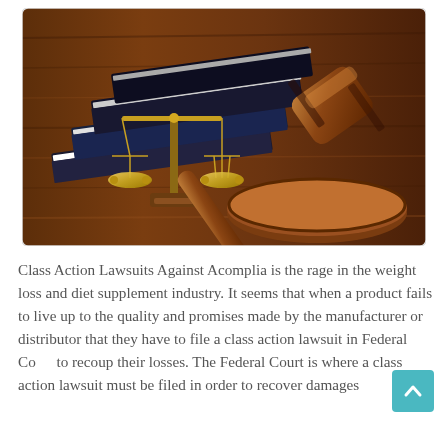[Figure (photo): A photograph showing a judge's wooden gavel resting on its sound block, a brass balance scale (scales of justice), and stacked dark law books arranged on a wooden table surface.]
Class Action Lawsuits Against Acomplia is the rage in the weight loss and diet supplement industry. It seems that when a product fails to live up to the quality and promises made by the manufacturer or distributor that they have to file a class action lawsuit in Federal Court to recoup their losses. The Federal Court is where a class action lawsuit must be filed in order to recover damages